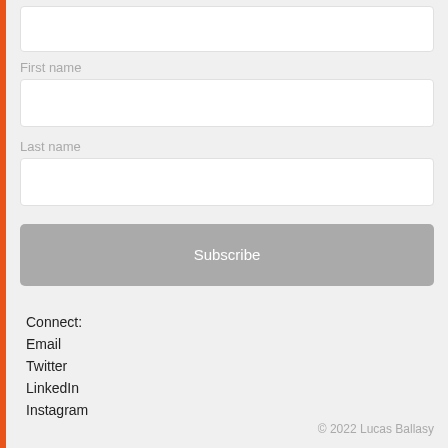First name
Last name
Subscribe
Connect:
Email
Twitter
LinkedIn
Instagram
© 2022 Lucas Ballasy